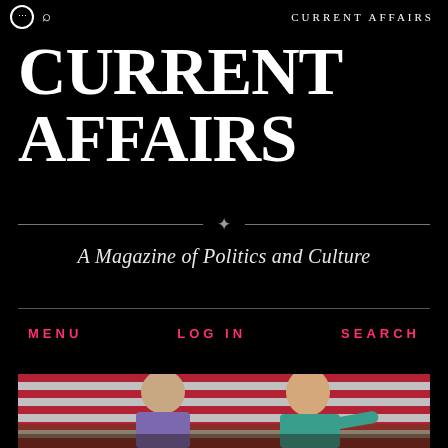CURRENT AFFAIRS
CURRENT AFFAIRS
✦
A Magazine of Politics and Culture
MENU   LOG IN   SEARCH
[Figure (photo): Two people on stage in front of an American flag backdrop. A man in a purple shirt is on the left smiling, and a woman in a teal jacket is on the right gesturing outward.]